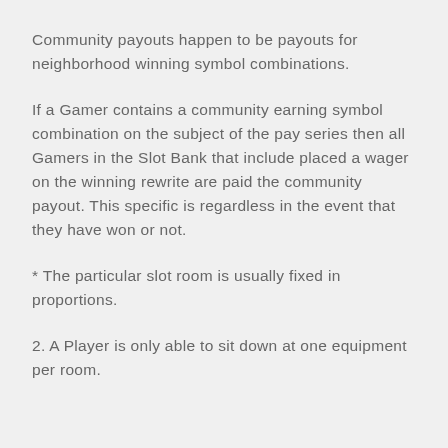Community payouts happen to be payouts for neighborhood winning symbol combinations.
If a Gamer contains a community earning symbol combination on the subject of the pay series then all Gamers in the Slot Bank that include placed a wager on the winning rewrite are paid the community payout. This specific is regardless in the event that they have won or not.
* The particular slot room is usually fixed in proportions.
2. A Player is only able to sit down at one equipment per room.